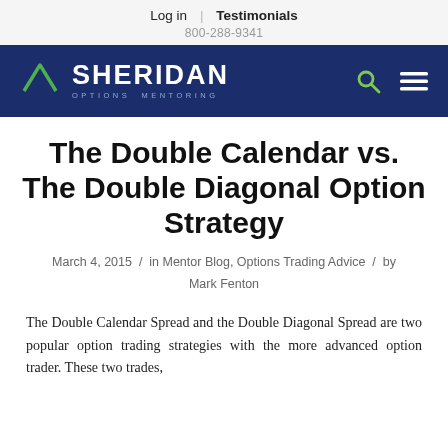Log in | Testimonials
800-288-9341
[Figure (logo): Sheridan Options Mentoring logo with green triangle/house icon, white bold text 'SHERIDAN' and subtitle 'OPTIONS MENTORING' on dark navy background, with search and hamburger menu icons]
The Double Calendar vs. The Double Diagonal Option Strategy
March 4, 2015 / in Mentor Blog, Options Trading Advice / by Mark Fenton
The Double Calendar Spread and the Double Diagonal Spread are two popular option trading strategies with the more advanced option trader. These two trades,